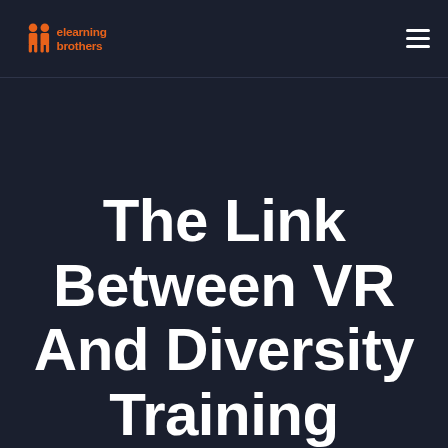eLearning Brothers
The Link Between VR And Diversity Training